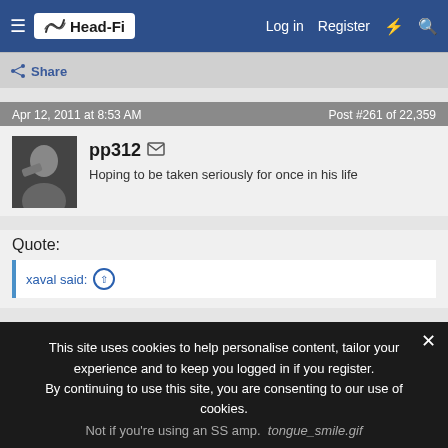Head-Fi — Log in  Register
Share
Apr 12, 2011 at 8:53 AM    Post #261 of 22,359
pp312
Hoping to be taken seriously for once in his life
Quote:
xaval said:
This site uses cookies to help personalise content, tailor your experience and to keep you logged in if you register. By continuing to use this site, you are consenting to our use of cookies.
Not if you're using an SS amp. tongue_smile.gif